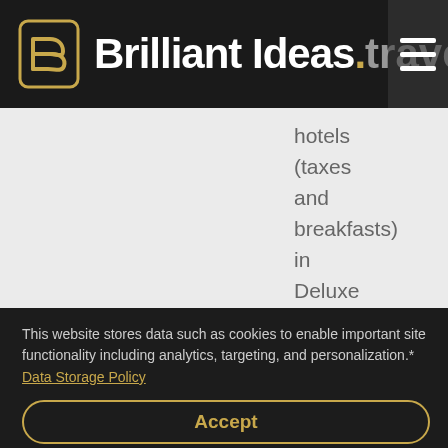Brilliant Ideas .travel
hotels (taxes and breakfasts) in Deluxe Twin or King
This website stores data such as cookies to enable important site functionality including analytics, targeting, and personalization.*
Data Storage Policy
Accept
Deny